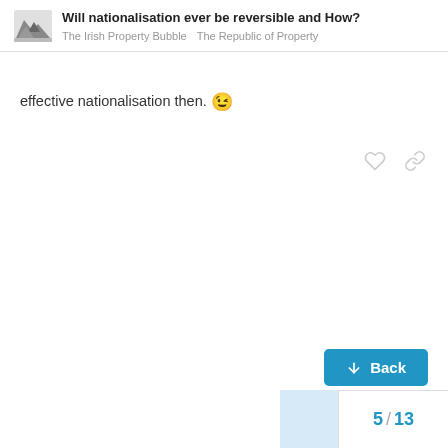Will nationalisation ever be reversible and How? | The Irish Property Bubble | The Republic of Property
effective nationalisation then. 😉
5 / 13